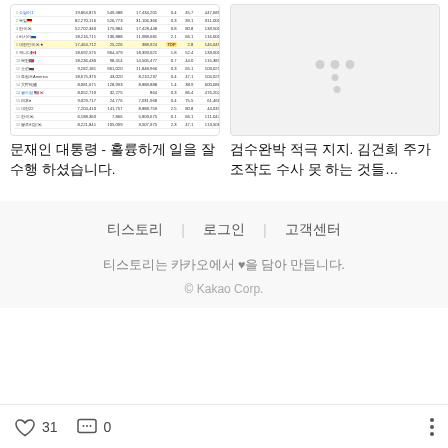[Figure (table-as-image): Screenshot of a Korean stock or data table with ranked rows and numeric columns]
문재인 대통령 - 훌륭하게 일을 잘 수행 하셨습니다.
[Figure (screenshot): Placeholder image with grey dots on light grey background]
검수완박 적극 지지. 김건희 주가 조작도 수사 못 하는 것들…
티스토리 | 로그인 | 고객센터
티스토리는 카카오에서 ♥을 담아 만듭니다.
© Kakao Corp.
31
0